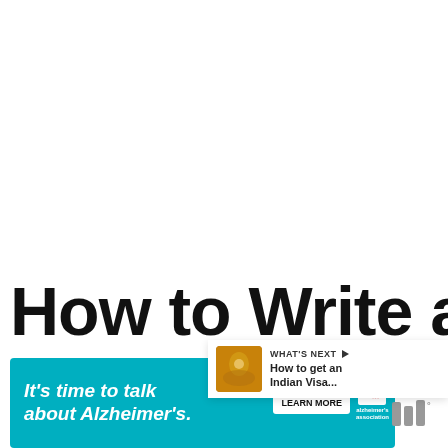[Figure (screenshot): White blank area at the top of a webpage]
[Figure (infographic): Red heart/like button icon with count 6, and share button below]
[Figure (infographic): What's Next card showing thumbnail and text 'How to get an Indian Visa...']
How to Write a Haiku
[Figure (infographic): Alzheimer's Association advertisement banner: It's time to talk about Alzheimer's. LEARN MORE]